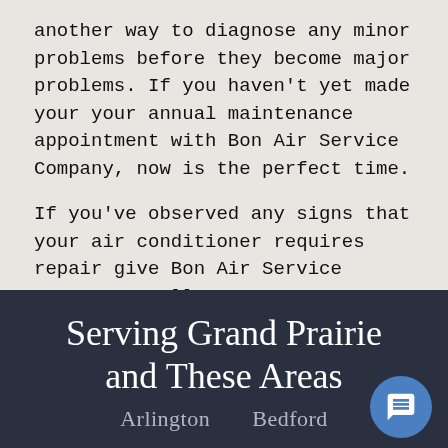another way to diagnose any minor problems before they become major problems. If you haven't yet made your your annual maintenance appointment with Bon Air Service Company, now is the perfect time.
If you've observed any signs that your air conditioner requires repair give Bon Air Service Company a call at 972-332-1028.
Serving Grand Prairie and These Areas
Arlington   Bedford